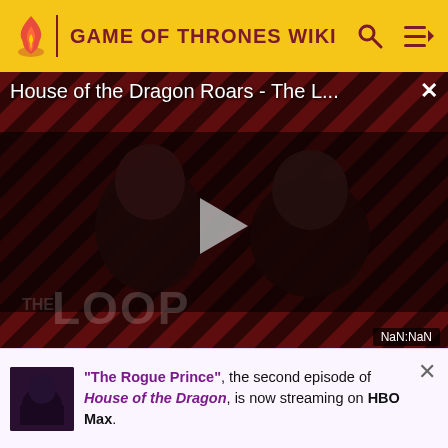GAME OF THRONES WIKI
[Figure (screenshot): Video player showing 'House of the Dragon Roars - The L...' with a play button in the center, diagonal striped background in red/dark, figures of people, THE LOOP watermark, and NaN:NaN time label]
his nephew – as his bastard son fathered on campaign, something that stained his honor and marriage and
"The Rogue Prince", the second episode of House of the Dragon, is now streaming on HBO Max.